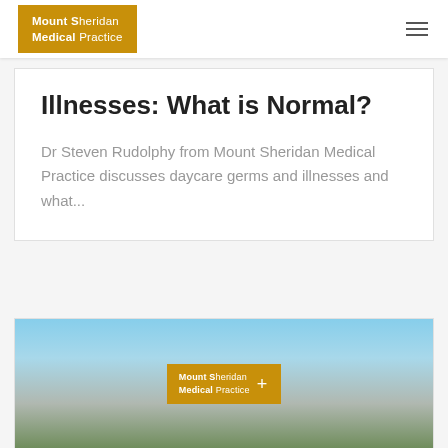Mount Sheridan Medical Practice
Illnesses: What is Normal?
Dr Steven Rudolphy from Mount Sheridan Medical Practice discusses daycare germs and illnesses and what...
[Figure (photo): Mount Sheridan Medical Practice building exterior with logo overlay on a blue sky background with green vegetation]